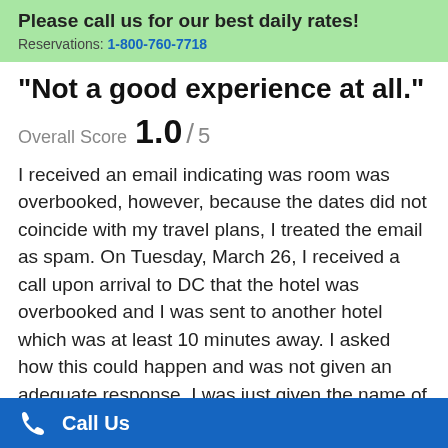Please call us for our best daily rates! Reservations: 1-800-760-7718
"Not a good experience at all."
Overall Score 1.0 / 5
I received an email indicating was room was overbooked, however, because the dates did not coincide with my travel plans, I treated the email as spam. On Tuesday, March 26, I received a call upon arrival to DC that the hotel was overbooked and I was sent to another hotel which was at least 10 minutes away. I asked how this could happen and was not given an adequate response. I was just given the name of the hotel at which I would be staying. As a result of the hotel being in close proximity of my meetings, I was awarded a sum of travel expenses which did not meet the needs of
Call Us